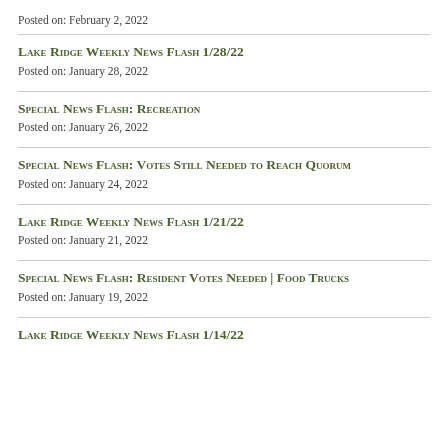Posted on: February 2, 2022
Lake Ridge Weekly News Flash 1/28/22
Posted on: January 28, 2022
Special News Flash: Recreation
Posted on: January 26, 2022
Special News Flash: Votes Still Needed to Reach Quorum
Posted on: January 24, 2022
Lake Ridge Weekly News Flash 1/21/22
Posted on: January 21, 2022
Special News Flash: Resident Votes Needed | Food Trucks
Posted on: January 19, 2022
Lake Ridge Weekly News Flash 1/14/22